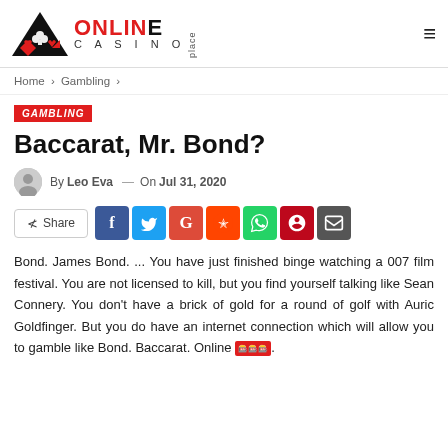Online Casino Place
Home > Gambling >
GAMBLING
Baccarat, Mr. Bond?
By Leo Eva — On Jul 31, 2020
Share [social icons: Facebook, Twitter, Google+, Reddit, WhatsApp, Pinterest, Email]
Bond. James Bond. ... You have just finished binge watching a 007 film festival. You are not licensed to kill, but you find yourself talking like Sean Connery. You don't have a brick of gold for a round of golf with Auric Goldfinger. But you do have an internet connection which will allow you to gamble like Bond. Baccarat. Online 🎰.